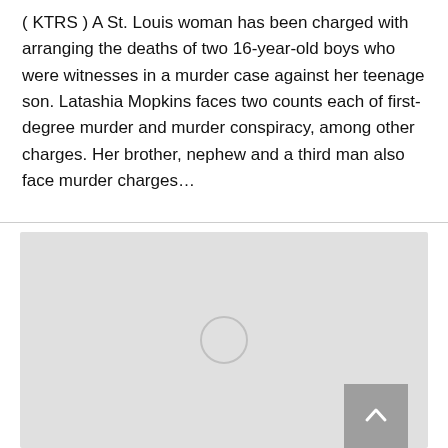( KTRS ) A St. Louis woman has been charged with arranging the deaths of two 16-year-old boys who were witnesses in a murder case against her teenage son. Latashia Mopkins faces two counts each of first-degree murder and murder conspiracy, among other charges. Her brother, nephew and a third man also face murder charges...
[Figure (other): Gray media loading placeholder with a circular spinner indicator and a scroll-to-top button in the bottom right corner]